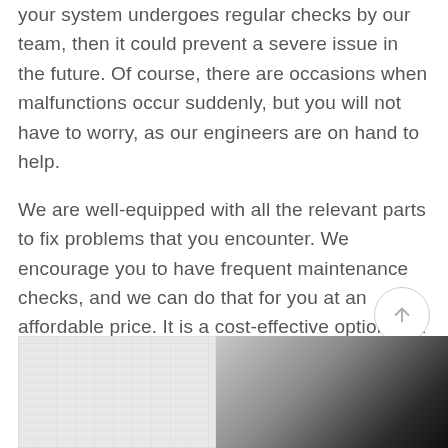your system undergoes regular checks by our team, then it could prevent a severe issue in the future. Of course, there are occasions when malfunctions occur suddenly, but you will not have to worry, as our engineers are on hand to help.
We are well-equipped with all the relevant parts to fix problems that you encounter. We encourage you to have frequent maintenance checks, and we can do that for you at an affordable price. It is a cost-effective option that will give you peace of mind.
[Figure (photo): Partial view of a white brick wall on the left and a dark angled surface on the right, appearing to show a building or garage door structure.]